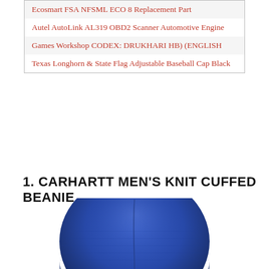| Ecosmart FSA NFSML ECO 8 Replacement Part |
| Autel AutoLink AL319 OBD2 Scanner Automotive Engine |
| Games Workshop CODEX: DRUKHARI HB) (ENGLISH |
| Texas Longhorn & State Flag Adjustable Baseball Cap Black |
1. CARHARTT MEN'S KNIT CUFFED BEANIE
[Figure (photo): Photo of a navy blue knit cuffed beanie hat (Carhartt Men's Knit Cuffed Beanie), shown from the front with a center seam visible at the top.]